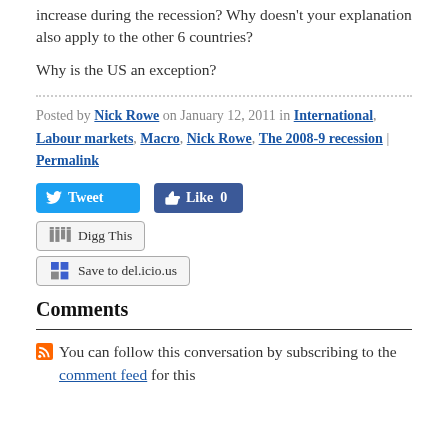increase during the recession? Why doesn't your explanation also apply to the other 6 countries?
Why is the US an exception?
Posted by Nick Rowe on January 12, 2011 in International, Labour markets, Macro, Nick Rowe, The 2008-9 recession | Permalink
[Figure (other): Tweet button and Facebook Like button with count 0]
[Figure (other): Digg This button and Save to del.icio.us button]
Comments
You can follow this conversation by subscribing to the comment feed for this